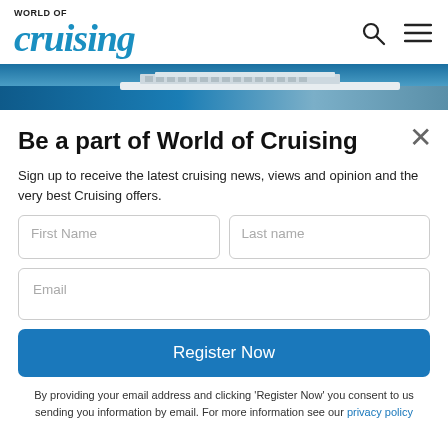WORLD OF cruising
[Figure (photo): Cruise ship banner image showing a large cruise ship from above against blue sea]
Be a part of World of Cruising
Sign up to receive the latest cruising news, views and opinion and the very best Cruising offers.
First Name | Last name | Email
Register Now
By providing your email address and clicking 'Register Now' you consent to us sending you information by email. For more information see our privacy policy